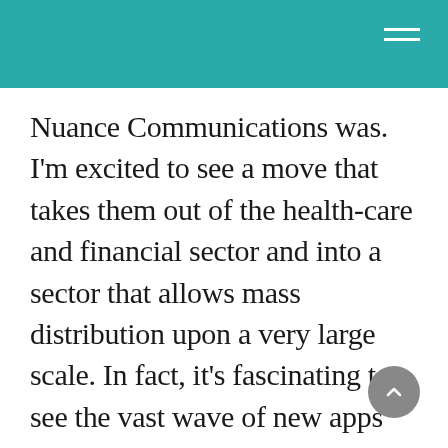Nuance Communications was. I'm excited to see a move that takes them out of the health-care and financial sector and into a sector that allows mass distribution upon a very large scale. In fact, it's fascinating to see the vast wave of new apps that have been enabled simply based on a flat fee-for-service agreement that Nuance the charges these developers. The methodology they have utilized to see their technology into the marketplace is very interesting. Furthermore, the latest introduction has created a new translation application made